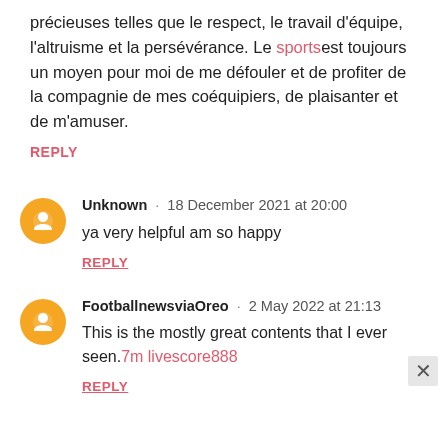précieuses telles que le respect, le travail d'équipe, l'altruisme et la persévérance. Le sports est toujours un moyen pour moi de me défouler et de profiter de la compagnie de mes coéquipiers, de plaisanter et de m'amuser.
REPLY
Unknown · 18 December 2021 at 20:00
ya very helpful am so happy
REPLY
FootballnewsviaOreo · 2 May 2022 at 21:13
This is the mostly great contents that I ever seen. 7m livescore888
REPLY